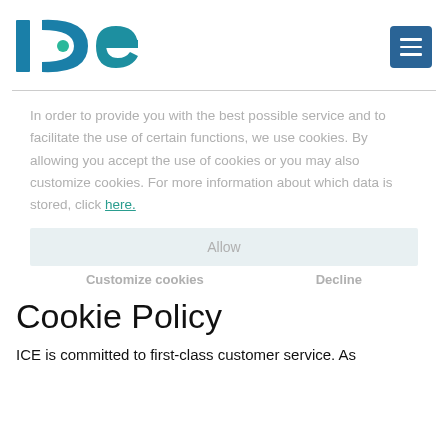[Figure (logo): ICE logo — teal and dark blue stylized letters 'I', 'C', 'e' with a green dot]
In order to provide you with the best possible service and to facilitate the use of certain functions, we use cookies. By allowing you accept the use of cookies or you may also customize cookies. For more information about which data is stored, click here.
Allow
Customize cookies        Decline
Cookie Policy
ICE is committed to first-class customer service. As